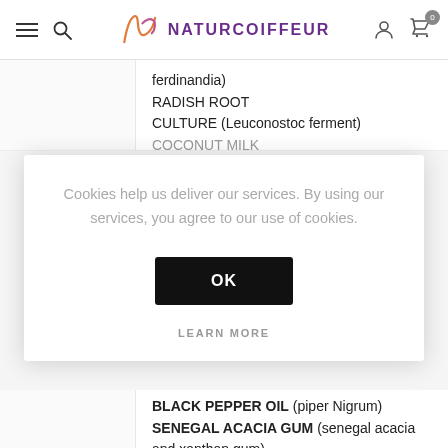NATURCOIFFEUR
ferdinandia)
RADISH ROOT CULTURE (Leuconostoc ferment)
COCONUT MILK
Cookies help us deliver our services. By using our services, you agree to our use of cookies.
OK
LEARN MORE
BLACK PEPPER OIL (piper Nigrum)
SENEGAL ACACIA GUM (senegal acacia and xanthan gum)
GREEN COFFEE EXTRACT (caffeine)
LACTIC ACID (lactic acid)